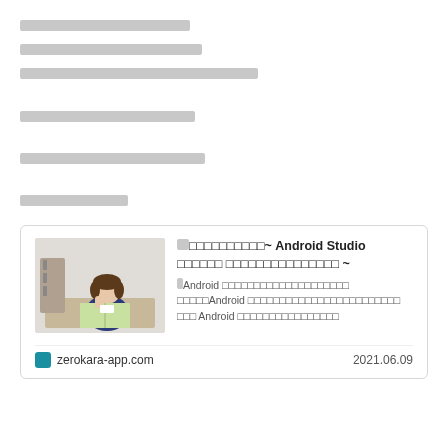□□□□□□□□□□□□□□□□□
□□□□□□□□□□□□□□□□□□
□□□□□□□□□□□□□□□□□□□□□□□□□□
□□□□□□□□□□□□□□□□□
□□□□□□□□□□□□□□□□□□□
□□□□□□□□□□
[Figure (infographic): Link card with thumbnail image of a student studying, title about Android Studio, description text about Android development, site zerokara-app.com, date 2021.06.09]
□□□□□□□□□□~ Android Studio □□□□□□ □□□□□□□□□□□□□□□ ~
□Android □□□□□□□□□□□□□□□□□□□□ □□□□□Android □□□□□□□□□□□□□□□□□□□□□□□□
□□□ Android □□□□□□□□□□□□□□□□
zerokara-app.com
2021.06.09